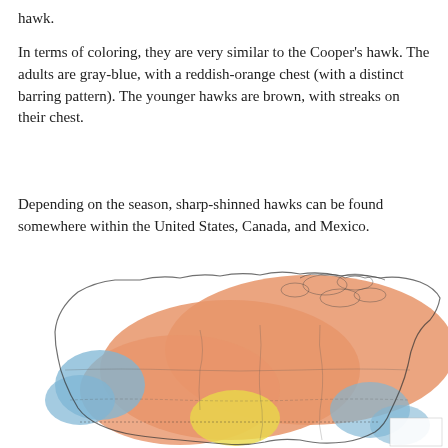hawk.
In terms of coloring, they are very similar to the Cooper's hawk. The adults are gray-blue, with a reddish-orange chest (with a distinct barring pattern). The younger hawks are brown, with streaks on their chest.
Depending on the season, sharp-shinned hawks can be found somewhere within the United States, Canada, and Mexico.
[Figure (map): A range map of North America showing the distribution of the sharp-shinned hawk. Orange shading covers most of Canada and the United States indicating the year-round or seasonal range. Blue shading appears along the western coast and parts of Mexico. Yellow shading is visible in a central southern region. The map includes outlines of Canada, the United States, and Mexico with internal state/province boundaries shown as thin lines.]